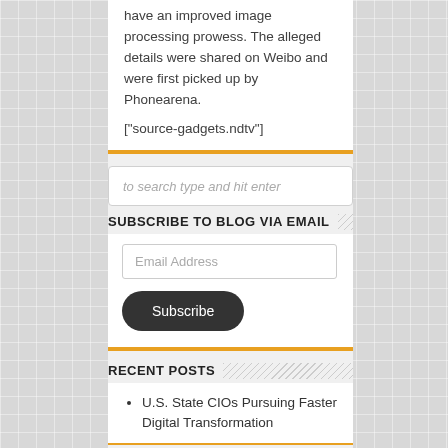have an improved image processing prowess. The alleged details were shared on Weibo and were first picked up by Phonearena.
["source-gadgets.ndtv"]
to search type and hit enter
SUBSCRIBE TO BLOG VIA EMAIL
Email Address
Subscribe
RECENT POSTS
U.S. State CIOs Pursuing Faster Digital Transformation